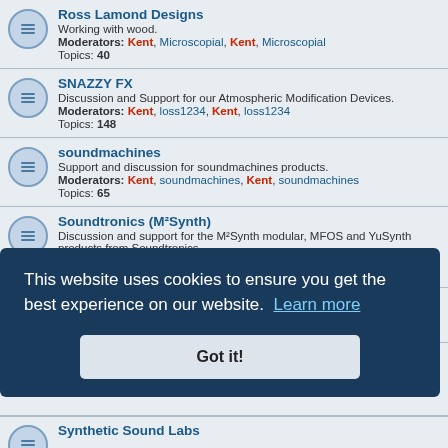Ross Lamond Designs - Working with wood. Moderators: Kent, Microscopial, Kent, Microscopial Topics: 40
SNAZZY FX - Discussion and Support for our Atmospheric Modification Devices. Moderators: Kent, loss1234, Kent, loss1234 Topics: 148
soundmachines - Support and discussion for soundmachines products. Moderators: Kent, soundmachines, Kent, soundmachines Topics: 65
Soundtronics (M²Synth) - Discussion and support for the M²Synth modular, MFOS and YuSynth products from Soundtronics. Moderators: Kent, Paul Cooper, Kent, Paul Cooper Topics: 32
STG Soundlabs - Moderators: Kent, Kent Topics: (partial)
This website uses cookies to ensure you get the best experience on our website. Learn more
Got it!
Synthetic Sound Labs